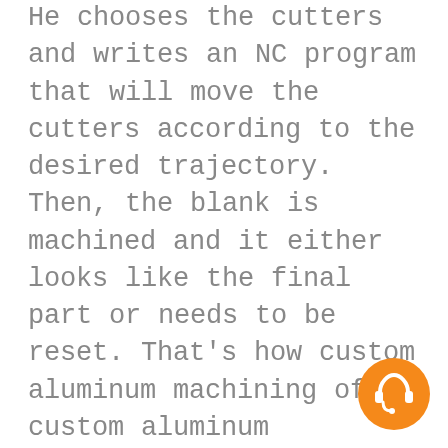He chooses the cutters and writes an NC program that will move the cutters according to the desired trajectory. Then, the blank is machined and it either looks like the final part or needs to be reset. That's how custom aluminum machining of custom aluminum prototypes is done generally. Bicycle parts are no different. Although the whole process sounds simple, it requires a lot of knowledge in manufacturing engineering, machining, and a whole lot of experience before you can successfully produce custom parts of high quality. That's why ordering parts if you are not up to that, is the preferable choice.
[Figure (illustration): Orange circular headset/customer support icon in the bottom right corner]